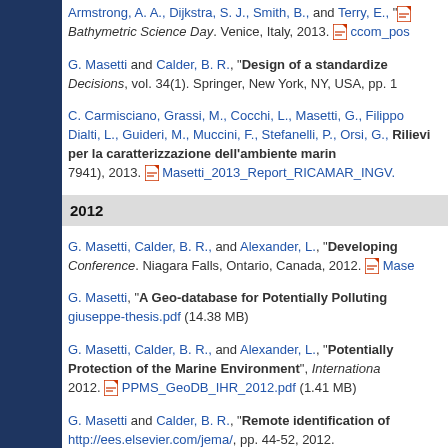Armstrong, A. A., Dijkstra, S. J., Smith, B., and Terry, E., "..." Bathymetric Science Day. Venice, Italy, 2013. [pdf] ccom_pos...
G. Masetti and Calder, B. R., "Design of a standardized..." Decisions, vol. 34(1). Springer, New York, NY, USA, pp. 1...
C. Carmisciano, Grassi, M., Cocchi, L., Masetti, G., Filippo..., Dialti, L., Guideri, M., Muccini, F., Stefanelli, P., Orsi, G., ... "Rilievi per la caratterizzazione dell'ambiente marin..." 7941), 2013. [pdf] Masetti_2013_Report_RICAMAR_INGV....
2012
G. Masetti, Calder, B. R., and Alexander, L., "Developing..." Conference. Niagara Falls, Ontario, Canada, 2012. [pdf] Mase...
G. Masetti, "A Geo-database for Potentially Polluting..." giuseppe-thesis.pdf (14.38 MB)
G. Masetti, Calder, B. R., and Alexander, L., "Potentially ... Protection of the Marine Environment", Internationa..., 2012. [pdf] PPMS_GeoDB_IHR_2012.pdf (1.41 MB)
G. Masetti and Calder, B. R., "Remote identification of..." http://ees.elsevier.com/jema/, pp. 44-52, 2012.